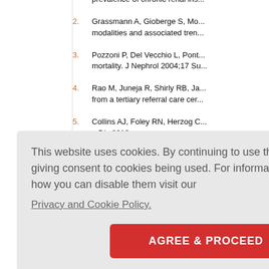1. [partial] prevalence of chronic renal ins...
2. Grassmann A, Gioberge S, Mo... modalities and associated tren...
3. Pozzoni P, Del Vecchio L, Pont... mortality. J Nephrol 2004;17 Su...
4. Rao M, Juneja R, Shirly RB, Ja... from a tertiary referral care cer...
5. Collins AJ, Foley RN, Herzog C... ...Dis 2013;...
...tegies. In... ...ephrology...
...MH. Pred...
...c hemodial... . 4th ed. ...
...cy 2006 ... uppl 1:S2...
This website uses cookies. By continuing to use this website you are giving consent to cookies being used. For information on cookies and how you can disable them visit our
Privacy and Cookie Policy.
AGREE & PROCEED